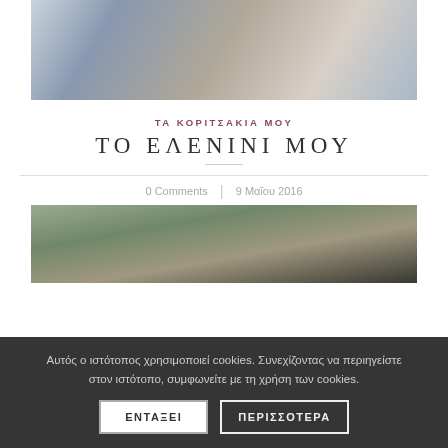[Figure (photo): Top portion of a wedding photo showing a bride in a white dress and a groom in a grey suit with a blue tie/ribbon.]
ΤΑ ΚΟΡΙΤΣΑΚΙΑ ΜΟΥ
ΤΟ ΕΛΕΝΙΝΙ ΜΟΥ
0 Comments | 9 Μαΐου 2016
[Figure (photo): Outdoor photo with people in a garden/park setting, partially obscured by a cookie consent banner.]
Αυτός ο ιστότοπος χρησιμοποιεί cookies. Συνεχίζοντας να περιηγείστε στον ιστότοπο, συμφωνείτε με τη χρήση των cookies.
ΕΝΤΑΞΕΙ   ΠΕΡΙΣΣΟΤΕΡΑ